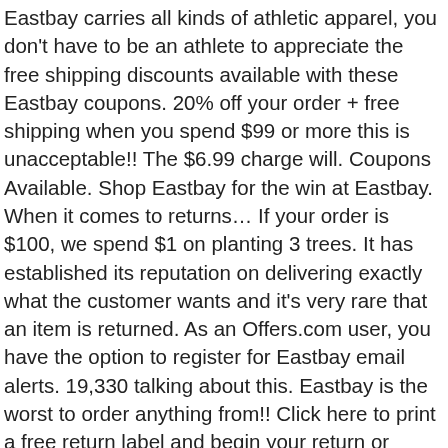Eastbay carries all kinds of athletic apparel, you don't have to be an athlete to appreciate the free shipping discounts available with these Eastbay coupons. 20% off your order + free shipping when you spend $99 or more this is unacceptable!! The $6.99 charge will. Coupons Available. Shop Eastbay for the win at Eastbay. When it comes to returns… If your order is $100, we spend $1 on planting 3 trees. It has established its reputation on delivering exactly what the customer wants and it's very rare that an item is returned. As an Offers.com user, you have the option to register for Eastbay email alerts. 19,330 talking about this. Eastbay is the worst to order anything from!! Click here to print a free return label and begin your return or exchange. You can then search by your ZIP code, city, state or country to get a listing of the stores closest to you. What's the process to return or exchange an online purchase? Your flyer also lists the dates when your team store will be available. Eastbay will cover the cost of return shipping if the items are returned before 90 days from shipment to the customer. That way you can shop without